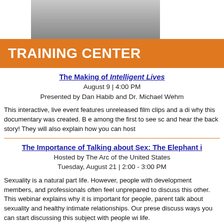[Figure (photo): Partial photo of a person, cropped at top of page]
TRAINING CENTER
The Making of Intelligent Lives
August 9 | 4:00 PM
Presented by Dan Habib and Dr. Michael Wehm
This interactive, live event features unreleased film clips and a dis why this documentary was created. B e among the first to see sc and hear the back story! They will also explain how you can host
The Importance of Talking about Sex: The Elephant i
Hosted by The Arc of the United States
Tuesday, August 21 | 2:00 - 3:00 PM
Sexuality is a natural part life. However, people with development members, and professionals often feel unprepared to discuss this other. This webinar explains why it is important for people, parent talk about sexuality and healthy intimate relationships. Our prese discuss ways you can start discussing this subject with people wi life.